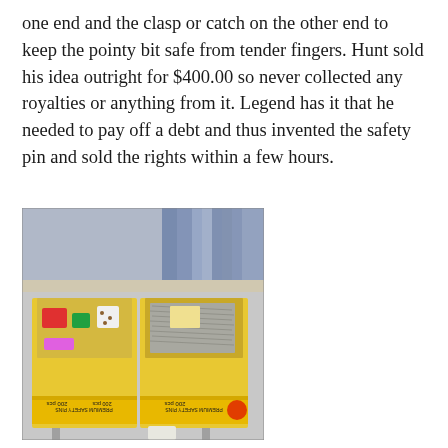one end and the clasp or catch on the other end to keep the pointy bit safe from tender fingers. Hunt sold his idea outright for $400.00 so never collected any royalties or anything from it. Legend has it that he needed to pay off a debt and thus invented the safety pin and sold the rights within a few hours.
[Figure (photo): Two yellow cardboard boxes labeled 'PREMIUM SAFETY PINS' containing various small items and safety pins, sitting on what appears to be a shelf or cart, with clothing items visible in the background.]